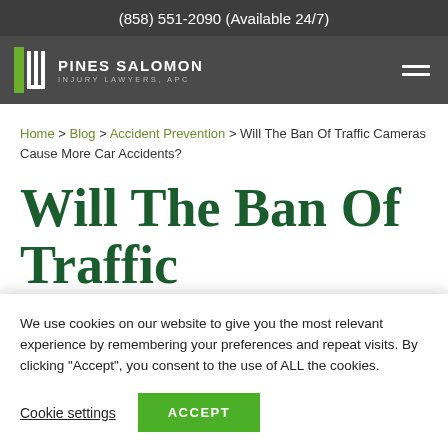(858) 551-2090 (Available 24/7)
[Figure (logo): Pines Salomon Injury Lawyers, APC logo with green pillar icon and white text on dark background]
Home > Blog > Accident Prevention > Will The Ban Of Traffic Cameras Cause More Car Accidents?
Will The Ban Of Traffic Cameras Cause More Car
We use cookies on our website to give you the most relevant experience by remembering your preferences and repeat visits. By clicking “Accept”, you consent to the use of ALL the cookies.
Cookie settings   ACCEPT